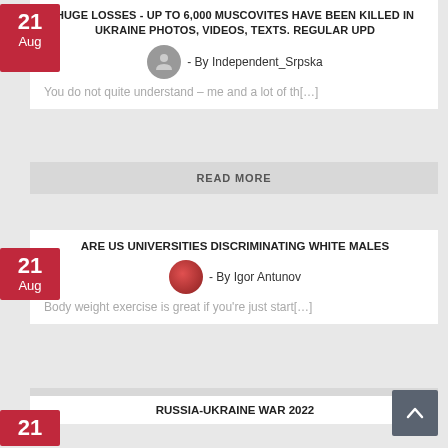HUGE LOSSES - UP TO 6,000 MUSCOVITES HAVE BEEN KILLED IN UKRAINE PHOTOS, VIDEOS, TEXTS. REGULAR UPD
- By Independent_Srpska
You do not quite understand – me and a lot of th[…]
READ MORE
ARE US UNIVERSITIES DISCRIMINATING WHITE MALES
- By Igor Antunov
Body weight exercise is great if you're just start[…]
READ MORE
RUSSIA-UKRAINE WAR 2022